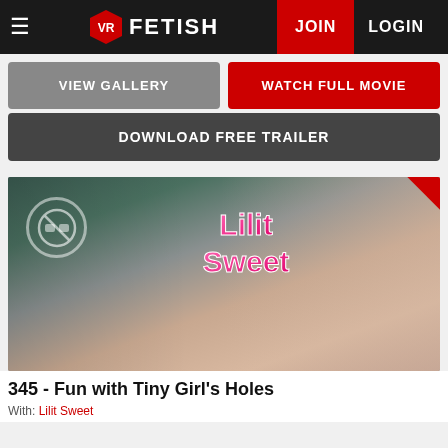VR FETISH — JOIN LOGIN
VIEW GALLERY
WATCH FULL MOVIE
DOWNLOAD FREE TRAILER
[Figure (photo): Promotional photo for VR Fetish scene featuring Lilit Sweet, with 8K | 3840p badge in top-right corner]
345 - Fun with Tiny Girl's Holes
With: Lilit Sweet